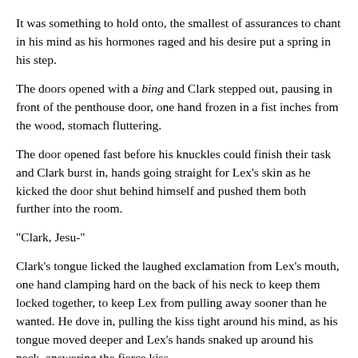It was something to hold onto, the smallest of assurances to chant in his mind as his hormones raged and his desire put a spring in his step.
The doors opened with a bing and Clark stepped out, pausing in front of the penthouse door, one hand frozen in a fist inches from the wood, stomach fluttering.
The door opened fast before his knuckles could finish their task and Clark burst in, hands going straight for Lex's skin as he kicked the door shut behind himself and pushed them both further into the room.
"Clark, Jesu-"
Clark's tongue licked the laughed exclamation from Lex's mouth, one hand clamping hard on the back of his neck to keep them locked together, to keep Lex from pulling away sooner than he wanted. He dove in, pulling the kiss tight around his mind, as his tongue moved deeper and Lex's hands snaked up around his neck, answering the fierce kiss.
It slowed when their teeth clacked together, Clark pulling back just a little to keep it passionate but not violent, his one hand gentling on Lex's neck, the other rubbing slowly down between them.